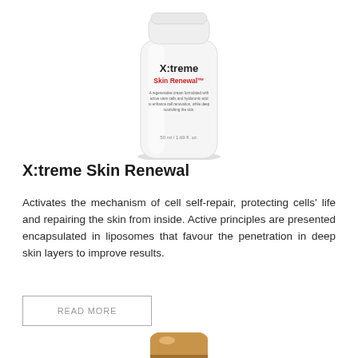[Figure (photo): X:treme Skin Renewal product bottle - white cylindrical bottle with red and black label text, 50ml / 1.69 fl. oz.]
X:treme Skin Renewal
Activates the mechanism of cell self-repair, protecting cells' life and repairing the skin from inside. Active principles are presented encapsulated in liposomes that favour the penetration in deep skin layers to improve results.
READ MORE
[Figure (photo): Partial view of another product - golden/tan colored bottle cap visible at bottom of page]